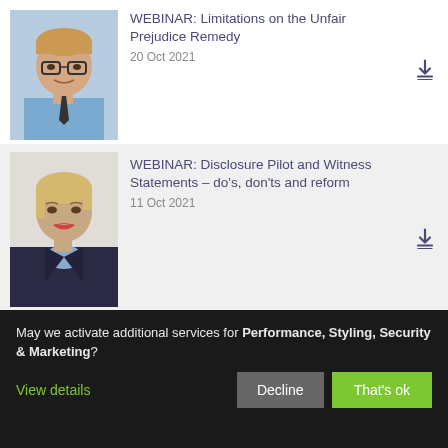[Figure (photo): Headshot of man with glasses wearing blue shirt and dark tie]
WEBINAR: Limitations on the Unfair Prejudice Remedy
20 Oct 2021
[Figure (photo): Headshot of woman with blonde hair wearing dark navy blazer]
WEBINAR: Disclosure Pilot and Witness Statements – do's, don'ts and reform
11 Oct 2021
[Figure (photo): Headshot of bald man with glasses wearing dark suit]
WEBINAR: Supreme Court decision in Triple Point Technology
May we activate additional services for Performance, Styling, Security & Marketing?
View details
Decline
That's ok